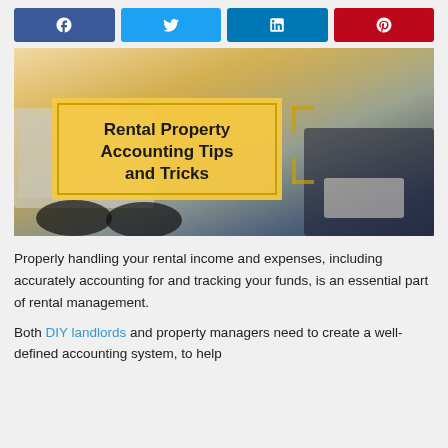[Figure (infographic): Social media share buttons: Facebook (blue), Twitter (cyan), LinkedIn (blue), Pinterest (red)]
[Figure (photo): Person at desk with laptop and glasses, overlaid with yellow box titled 'Rental Property Accounting Tips and Tricks']
Properly handling your rental income and expenses, including accurately accounting for and tracking your funds, is an essential part of rental management.
Both DIY landlords and property managers need to create a well-defined accounting system, to help